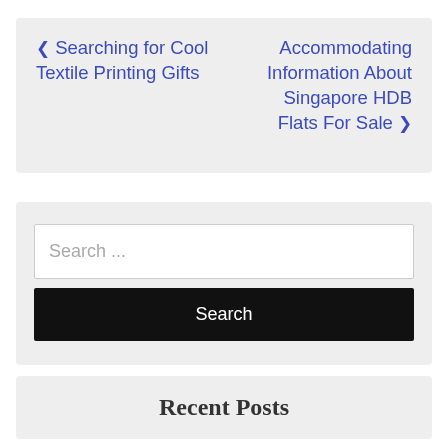‹ Searching for Cool Textile Printing Gifts
Accommodating Information About Singapore HDB Flats For Sale ›
[Figure (screenshot): Search input field with placeholder text 'Search ...' and a black Search button below it]
Recent Posts